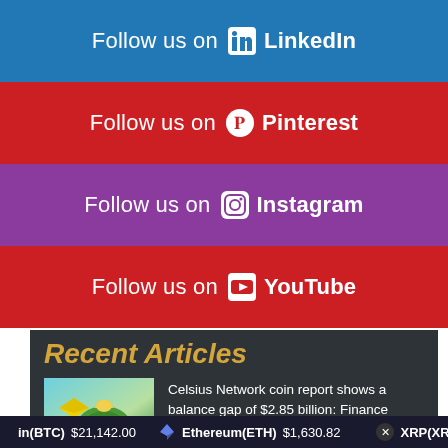Follow us on LinkedIn
Follow us on Pinterest
Follow us on Instagram
Follow us on YouTube
Recent Articles
Celsius Network coin report shows a balance gap of $2.85 billion: Finance Redefined
United Texas Bank CEO wants to 'limit the issuance of US dollar-backed
in(BTC) $21,142.00   Ethereum(ETH) $1,630.82   XRP(XRP) $